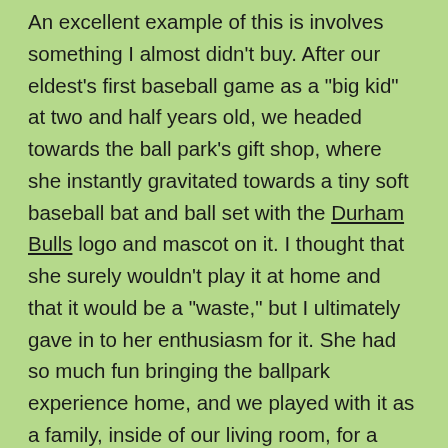An excellent example of this is involves something I almost didn't buy. After our eldest's first baseball game as a "big kid" at two and half years old, we headed towards the ball park's gift shop, where she instantly gravitated towards a tiny soft baseball bat and ball set with the Durham Bulls logo and mascot on it. I thought that she surely wouldn't play it at home and that it would be a "waste," but I ultimately gave in to her enthusiasm for it. She had so much fun bringing the ballpark experience home, and we played with it as a family, inside of our living room, for a long while. Now six years old and the bat and ball long since donated, she fondly mentions playing with them nearly every time we drive by the ballpark. The physical memento positively enhanced her memories.